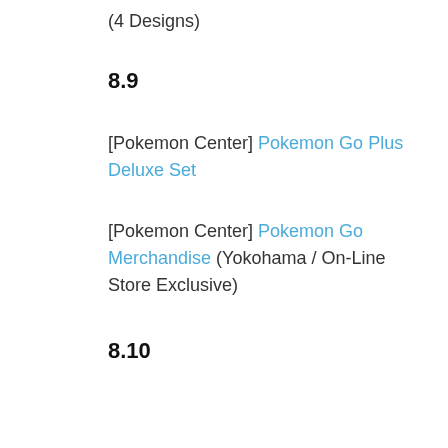(4 Designs)
8.9
[Pokemon Center] Pokemon Go Plus Deluxe Set
[Pokemon Center] Pokemon Go Merchandise (Yokohama / On-Line Store Exclusive)
8.10
[Bapresto] Large Pokeball Plush (Great Ball, Masterball)
[Banpresto] Kororin Friends (Piplup, Totodile, Mudkip)